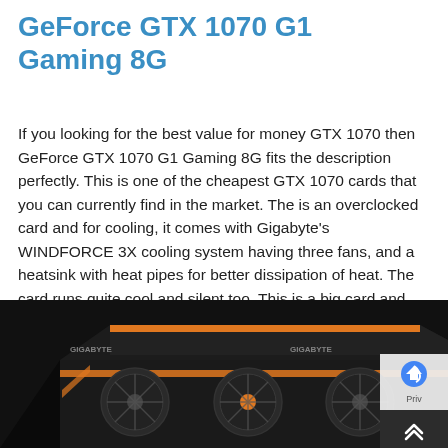GeForce GTX 1070 G1 Gaming 8G
If you looking for the best value for money GTX 1070 then GeForce GTX 1070 G1 Gaming 8G fits the description perfectly. This is one of the cheapest GTX 1070 cards that you can currently find in the market. The is an overclocked card and for cooling, it comes with Gigabyte’s WINDFORCE 3X cooling system having three fans, and a heatsink with heat pipes for better dissipation of heat. The card runs quite cool and silent too. This is a big card and you would require a good mid-tower or full tower case to accommodate it.
[Figure (photo): Photo of the Gigabyte GeForce GTX 1070 G1 Gaming graphics card showing the triple-fan WINDFORCE 3X cooling system with orange accents on a dark background.]